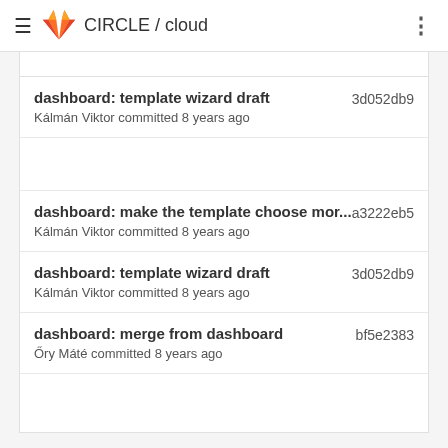CIRCLE / cloud
dashboard: template wizard draft | 3d052db9 | Kálmán Viktor committed 8 years ago
dashboard: make the template choose mor... | a3222eb5 | Kálmán Viktor committed 8 years ago
dashboard: template wizard draft | 3d052db9 | Kálmán Viktor committed 8 years ago
dashboard: merge from dashboard | bf5e2383 | Őry Máté committed 8 years ago